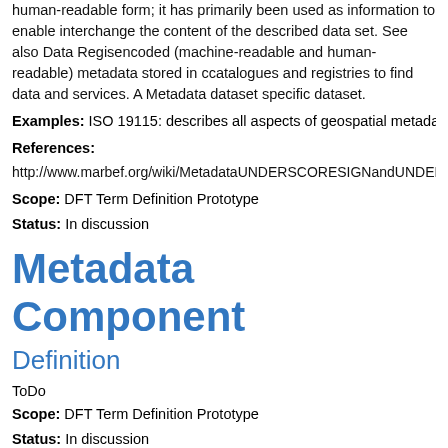human-readable form; it has primarily been used as information to enable interchange the content of the described data set. See also Data Regis... encoded (machine-readable and human-readable) metadata stored in catalogues and registries to find data and services. A Metadata dataset specific dataset.
Examples: ISO 19115: describes all aspects of geospatial metadata ar
References:
http://www.marbef.org/wiki/MetadataUNDERSCORESIGNandUNDERS
Scope: DFT Term Definition Prototype
Status: In discussion
Metadata Component
Definition
ToDo
Scope: DFT Term Definition Prototype
Status: In discussion
Metadata Element